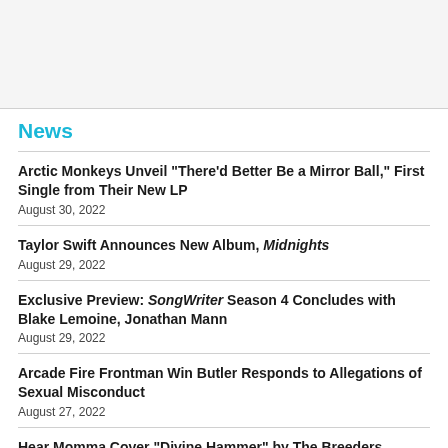News
Arctic Monkeys Unveil "There'd Better Be a Mirror Ball," First Single from Their New LP
August 30, 2022
Taylor Swift Announces New Album, Midnights
August 29, 2022
Exclusive Preview: SongWriter Season 4 Concludes with Blake Lemoine, Jonathan Mann
August 29, 2022
Arcade Fire Frontman Win Butler Responds to Allegations of Sexual Misconduct
August 27, 2022
Hear Momma Cover “Divine Hammer” by The Breeders